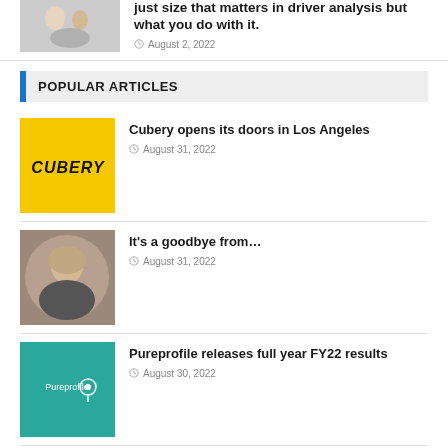[Figure (photo): Small thumbnail of two people with a dog]
just size that matters in driver analysis but what you do with it.
August 2, 2022
POPULAR ARTICLES
[Figure (logo): Cubery logo on yellow background]
Cubery opens its doors in Los Angeles
August 31, 2022
[Figure (photo): Circular portrait photo of a bald man]
It’s a goodbye from…
August 31, 2022
[Figure (logo): Pureprofile logo on teal/green background]
Pureprofile releases full year FY22 results
August 30, 2022